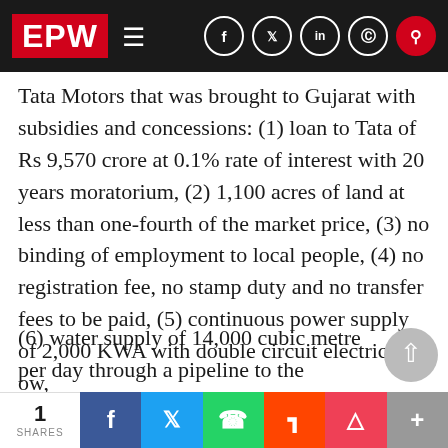EPW
Tata Motors that was brought to Gujarat with subsidies and concessions: (1) loan to Tata of Rs 9,570 crore at 0.1% rate of interest with 20 years moratorium, (2) 1,100 acres of land at less than one-fourth of the market price, (3) no binding of employment to local people, (4) no registration fee, no stamp duty and no transfer fees to be paid, (5) continuous power supply of 2,000 KWA with double circuit electricity fl ow,
(6) water supply of 14,000 cubic metre per day through a pipeline to the project area – at government cost, and (7) 100 acre area given f
1 SHARES | f | tw | wa | rd | pk | +